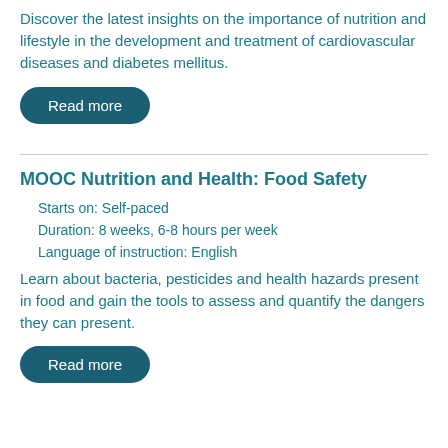Discover the latest insights on the importance of nutrition and lifestyle in the development and treatment of cardiovascular diseases and diabetes mellitus.
Read more
MOOC Nutrition and Health: Food Safety
Starts on: Self-paced
Duration: 8 weeks, 6-8 hours per week
Language of instruction: English
Learn about bacteria, pesticides and health hazards present in food and gain the tools to assess and quantify the dangers they can present.
Read more